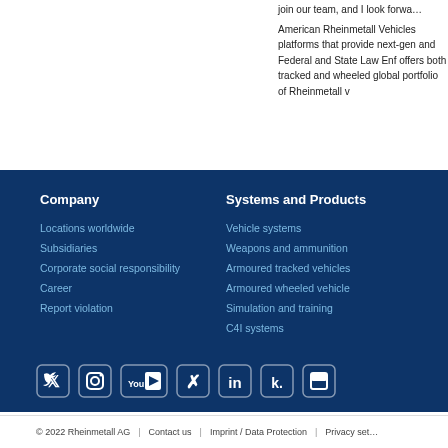join our team, and I look forwa...
American Rheinmetall Vehicles platforms that provide next-gen and Federal and State Law Enf offers both tracked and wheeled global portfolio of Rheinmetall v
Company
Locations worldwide
Subsidiaries
Corporate social responsibility
Career
Report violation
Systems and Products
Vehicle systems
Weapons and ammunition
Armoured tracked vehicles
Armoured wheeled vehicle
Simulation and training
C4I systems
© 2022 Rheinmetall AG | Contact us | Imprint / Data Protection | Privacy set...